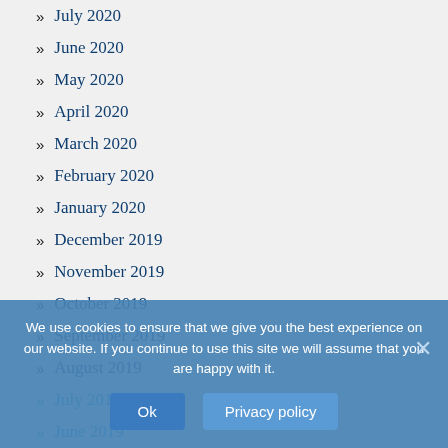July 2020
June 2020
May 2020
April 2020
March 2020
February 2020
January 2020
December 2019
November 2019
October 2019
September 2019
August 2019
July 2019
June 2019
May 2019
April 2019
March 2019
We use cookies to ensure that we give you the best experience on our website. If you continue to use this site we will assume that you are happy with it.
Ok
Privacy policy